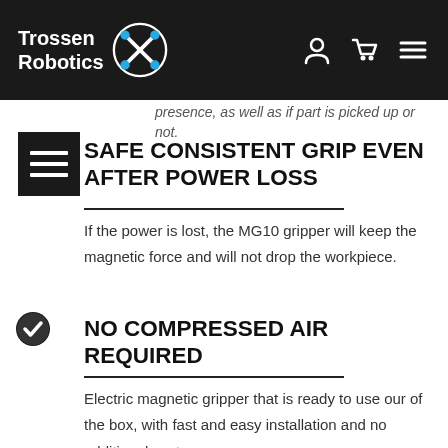Trossen Robotics
presence, as well as if part is picked up or not.
SAFE CONSISTENT GRIP EVEN AFTER POWER LOSS
If the power is lost, the MG10 gripper will keep the magnetic force and will not drop the workpiece.
NO COMPRESSED AIR REQUIRED
Electric magnetic gripper that is ready to use our of the box, with fast and easy installation and no additional costs.